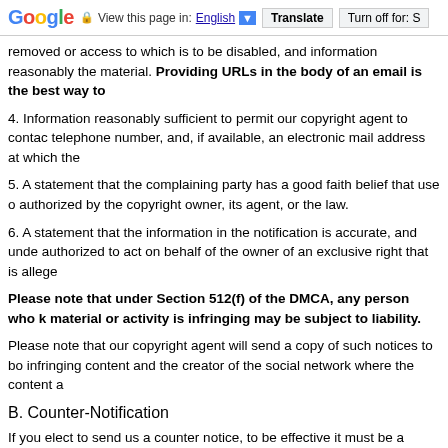Google — View this page in: English ▼  Translate  Turn off for: S
removed or access to which is to be disabled, and information reasonably the material. Providing URLs in the body of an email is the best way to
4. Information reasonably sufficient to permit our copyright agent to contact telephone number, and, if available, an electronic mail address at which the
5. A statement that the complaining party has a good faith belief that use o authorized by the copyright owner, its agent, or the law.
6. A statement that the information in the notification is accurate, and unde authorized to act on behalf of the owner of an exclusive right that is allege
Please note that under Section 512(f) of the DMCA, any person who k material or activity is infringing may be subject to liability.
Please note that our copyright agent will send a copy of such notices to bo infringing content and the creator of the social network where the content a
B. Counter-Notification
If you elect to send us a counter notice, to be effective it must be a written (please consult your legal counsel or See 17 U.S.C. Section 512(g)(3) to c
1. A physical or electronic signature of the subscriber.
2. Identification of the material that has been removed or to which access h material appeared before it was removed or access to it was disabled.
3. A statement under penalty of perjury that the subscriber has a good faith disabled as a result of mistake or misidentification of the material to be rem
4. The subscriber's name, address, and telephone number, and a stateme